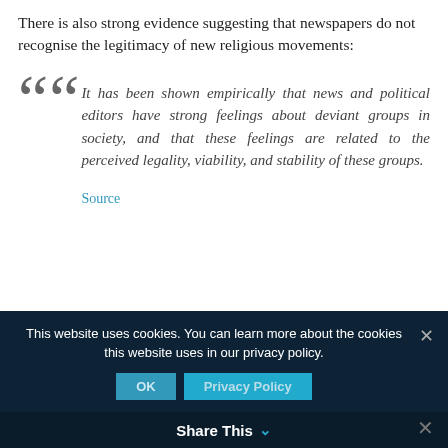There is also strong evidence suggesting that newspapers do not recognise the legitimacy of new religious movements:
It has been shown empirically that news and political editors have strong feelings about deviant groups in society, and that these feelings are related to the perceived legality, viability, and stability of these groups.
Source
This website uses cookies. You can learn more about the cookies this website uses in our privacy policy.
OK   Privacy Policy
Share This ∨